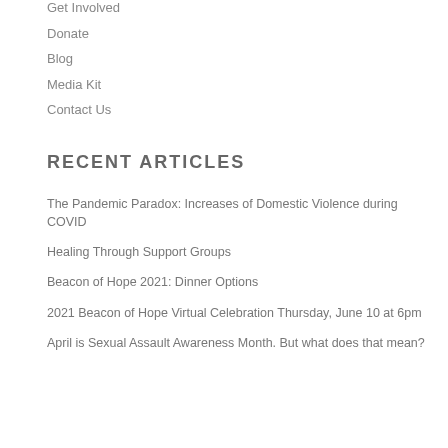Get Involved
Donate
Blog
Media Kit
Contact Us
RECENT ARTICLES
The Pandemic Paradox: Increases of Domestic Violence during COVID
Healing Through Support Groups
Beacon of Hope 2021: Dinner Options
2021 Beacon of Hope Virtual Celebration Thursday, June 10 at 6pm
April is Sexual Assault Awareness Month. But what does that mean?